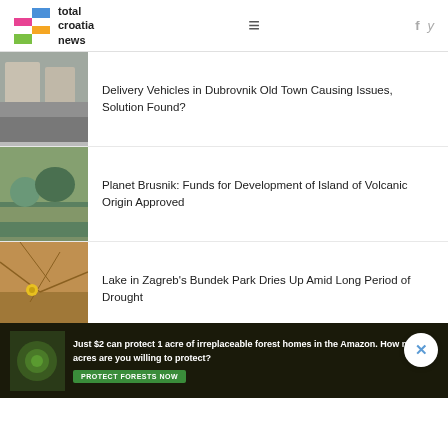total croatia news
Delivery Vehicles in Dubrovnik Old Town Causing Issues, Solution Found?
Planet Brusnik: Funds for Development of Island of Volcanic Origin Approved
Lake in Zagreb's Bundek Park Dries Up Amid Long Period of Drought
24th
[Figure (screenshot): Advertisement banner: Just $2 can protect 1 acre of irreplaceable forest homes in the Amazon. How many acres are you willing to protect? PROTECT FORESTS NOW]